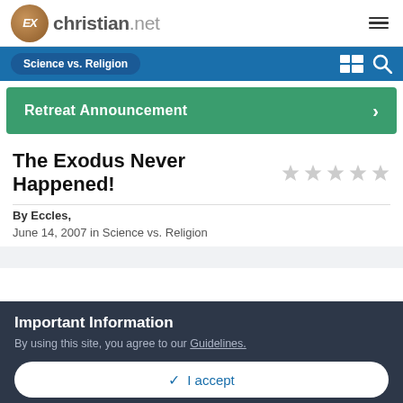EXchristian.net
Science vs. Religion
Retreat Announcement
The Exodus Never Happened!
By Eccles,
June 14, 2007 in Science vs. Religion
Important Information
By using this site, you agree to our Guidelines.
✔ I accept